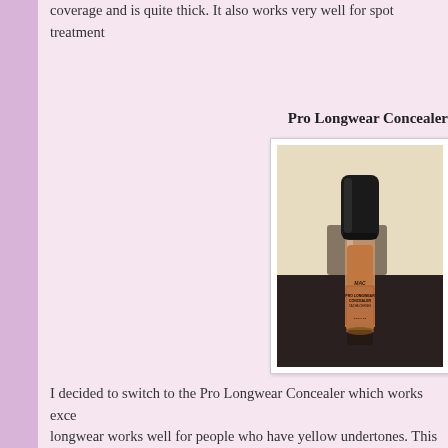coverage and is quite thick. It also works very well for spot treatment
Pro Longwear Concealer
[Figure (photo): MAC Pro Longwear Concealer bottle with black cap, transparent glass tube showing medium beige/tan concealer product, label reading PRO LONGWEAR CONCEALER CACHE-CERNES, sitting on a dark surface]
I decided to switch to the Pro Longwear Concealer which works exce... longwear works well for people who have yellow undertones. This ...